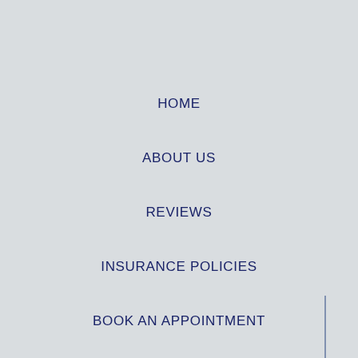HOME
ABOUT US
REVIEWS
INSURANCE POLICIES
BOOK AN APPOINTMENT
GET A QUOTE
GET REWARDS
CONTACT US